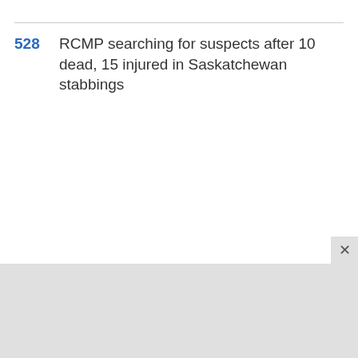528 RCMP searching for suspects after 10 dead, 15 injured in Saskatchewan stabbings